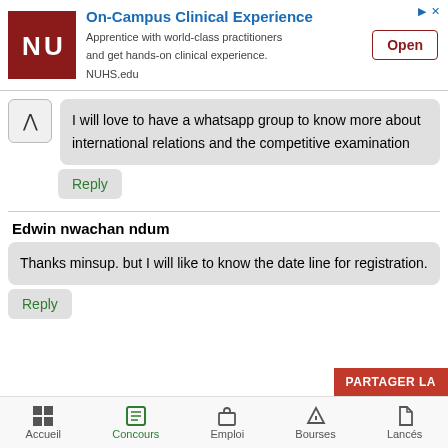[Figure (logo): NUHS university logo, white N and U letters on dark red background]
On-Campus Clinical Experience
Apprentice with world-class practitioners and get hands-on clinical experience.
NUHS.edu
Open
I will love to have a whatsapp group to know more about international relations and the competitive examination
Reply
Edwin nwachan ndum
Thanks minsup. but I will like to know the date line for registration.
Reply
PARTAGER LA
Accueil   Concours   Emploi   Bourses   Lancés